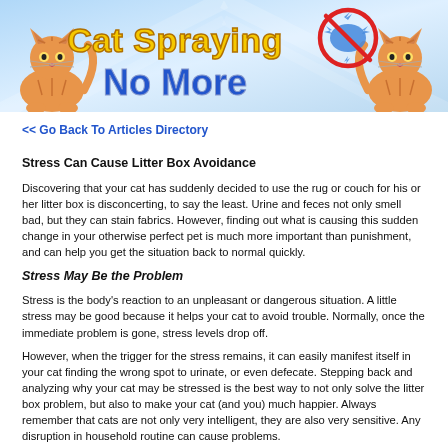[Figure (illustration): Cat Spraying No More banner with orange cats on left and right, blue and yellow logo text in center, no-spray icon (red circle with diagonal slash over blue cat splash)]
<< Go Back To Articles Directory
Stress Can Cause Litter Box Avoidance
Discovering that your cat has suddenly decided to use the rug or couch for his or her litter box is disconcerting, to say the least. Urine and feces not only smell bad, but they can stain fabrics. However, finding out what is causing this sudden change in your otherwise perfect pet is much more important than punishment, and can help you get the situation back to normal quickly.
Stress May Be the Problem
Stress is the body’s reaction to an unpleasant or dangerous situation. A little stress may be good because it helps your cat to avoid trouble. Normally, once the immediate problem is gone, stress levels drop off.
However, when the trigger for the stress remains, it can easily manifest itself in your cat finding the wrong spot to urinate, or even defecate. Stepping back and analyzing why your cat may be stressed is the best way to not only solve the litter box problem, but also to make your cat (and you) much happier. Always remember that cats are not only very intelligent, they are also very sensitive. Any disruption in household routine can cause problems.